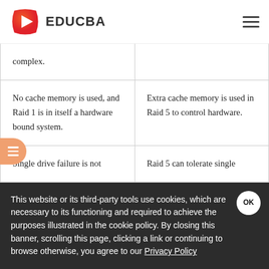EDUCBA
| complex. |  |
| No cache memory is used, and Raid 1 is in itself a hardware bound system. | Extra cache memory is used in Raid 5 to control hardware. |
| Single drive failure is not … | Raid 5 can tolerate single … |
This website or its third-party tools use cookies, which are necessary to its functioning and required to achieve the purposes illustrated in the cookie policy. By closing this banner, scrolling this page, clicking a link or continuing to browse otherwise, you agree to our Privacy Policy